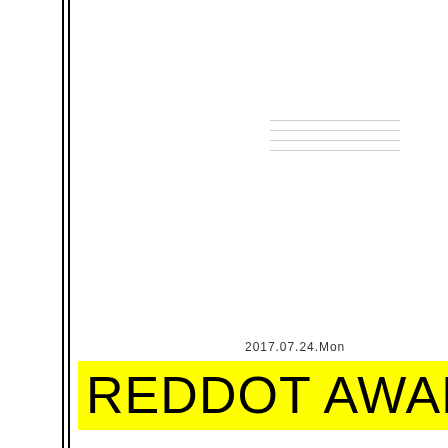[Figure (illustration): Decorative horizontal lines in light gray at top-right of page]
2017.07.24.Mon
REDDOT AWARD